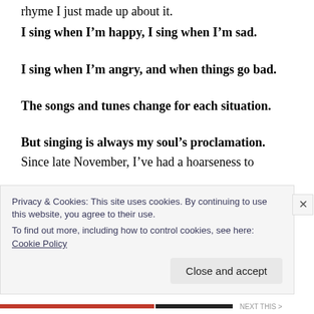rhyme I just made up about it.
I sing when I'm happy, I sing when I'm sad.
I sing when I'm angry, and when things go bad.
The songs and tunes change for each situation.
But singing is always my soul's proclamation.
Since late November, I've had a hoarseness to
Privacy & Cookies: This site uses cookies. By continuing to use this website, you agree to their use.
To find out more, including how to control cookies, see here:
Cookie Policy
Close and accept